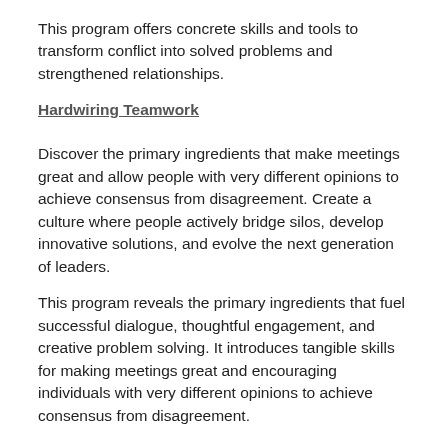This program offers concrete skills and tools to transform conflict into solved problems and strengthened relationships.
Hardwiring Teamwork
Discover the primary ingredients that make meetings great and allow people with very different opinions to achieve consensus from disagreement. Create a culture where people actively bridge silos, develop innovative solutions, and evolve the next generation of leaders.
This program reveals the primary ingredients that fuel successful dialogue, thoughtful engagement, and creative problem solving. It introduces tangible skills for making meetings great and encouraging individuals with very different opinions to achieve consensus from disagreement.